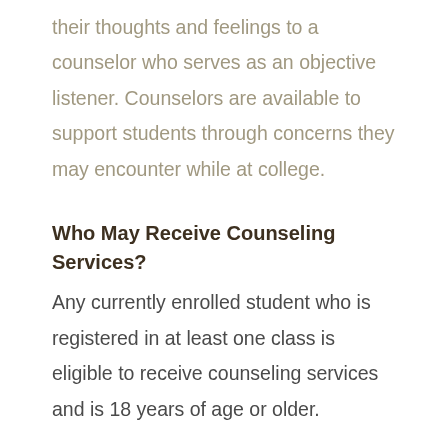their thoughts and feelings to a counselor who serves as an objective listener. Counselors are available to support students through concerns they may encounter while at college.
Who May Receive Counseling Services?
Any currently enrolled student who is registered in at least one class is eligible to receive counseling services and is 18 years of age or older.